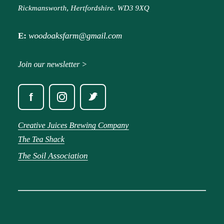Rickmansworth, Hertfordshire. WD3 9XQ
E: woodoaksfarm@gmail.com
Join our newsletter >
[Figure (other): Three social media icons: Facebook, Instagram, Twitter, displayed as white outlined squares with white icons on dark green background]
Creative Juices Brewing Company
The Tea Shack
The Soil Association